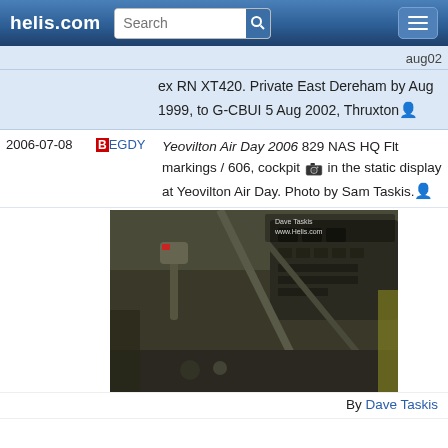helis.com
aug02
ex RN XT420. Private East Dereham by Aug 1999, to G-CBUI 5 Aug 2002, Thruxton
2006-07-08  BEGDY  Yeovilton Air Day 2006 829 NAS HQ Flt markings / 606, cockpit [camera] in the static display at Yeovilton Air Day. Photo by Sam Taskis.
[Figure (photo): Cockpit interior photo of a helicopter, showing control sticks, instrument panel, and cockpit structure. Watermark: Dave Taskis / Helis.com]
By Dave Taskis